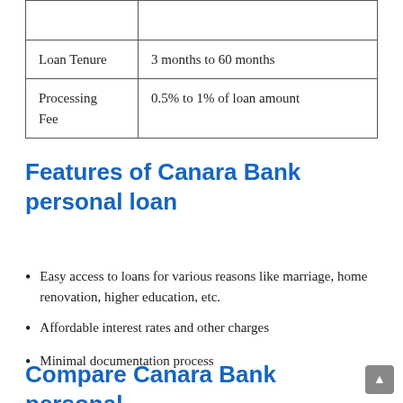| Loan Tenure | 3 months to 60 months |
| Processing Fee | 0.5% to 1% of loan amount |
Features of Canara Bank personal loan
Easy access to loans for various reasons like marriage, home renovation, higher education, etc.
Affordable interest rates and other charges
Minimal documentation process
Compare Canara Bank personal